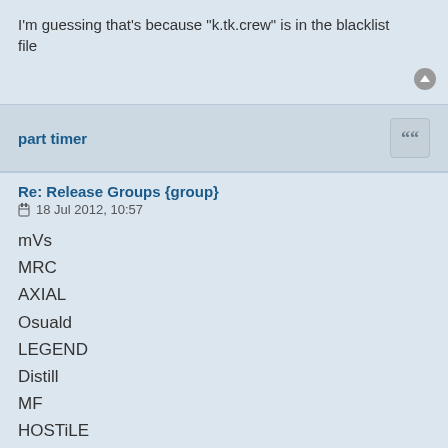I'm guessing that's because "k.tk.crew" is in the blacklist file
part timer
Re: Release Groups {group}
18 Jul 2012, 10:57
mVs
MRC
AXIAL
Osuald
LEGEND
Distill
MF
HOSTiLE
AEN
WOLFPACK
UKVcd
rcdivx
Bassline